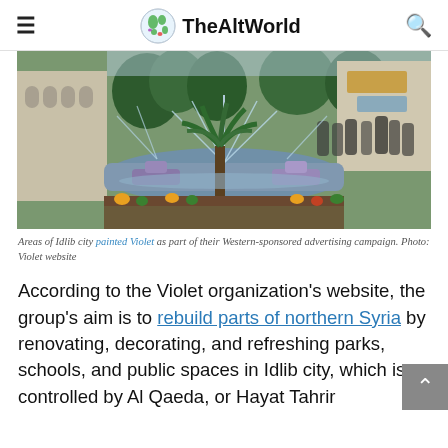≡  TheAltWorld  🔍
[Figure (photo): Outdoor public fountain area in Idlib city with people around, palm tree in foreground, water jets spraying, buildings in background]
Areas of Idlib city painted Violet as part of their Western-sponsored advertising campaign. Photo: Violet website
According to the Violet organization's website, the group's aim is to rebuild parts of northern Syria by renovating, decorating, and refreshing parks, schools, and public spaces in Idlib city, which is controlled by Al Qaeda, or Hayat Tahrir